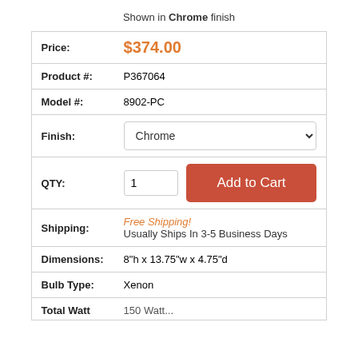Shown in Chrome finish
| Price: | $374.00 |
| Product #: | P367064 |
| Model #: | 8902-PC |
| Finish: | Chrome (dropdown) |
| QTY: | 1 | Add to Cart |
| Shipping: | Free Shipping!
Usually Ships In 3-5 Business Days |
| Dimensions: | 8"h x 13.75"w x 4.75"d |
| Bulb Type: | Xenon |
| Total Watt: | 150 Watts... |